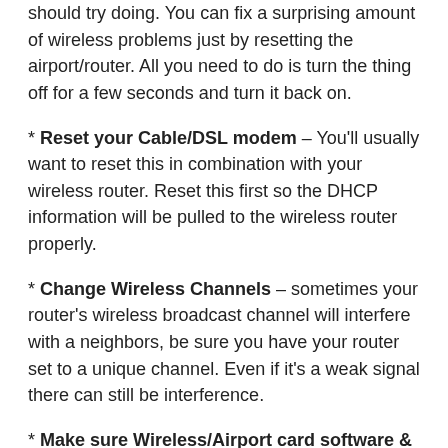should try doing. You can fix a surprising amount of wireless problems just by resetting the airport/router. All you need to do is turn the thing off for a few seconds and turn it back on.
* Reset your Cable/DSL modem – You'll usually want to reset this in combination with your wireless router. Reset this first so the DHCP information will be pulled to the wireless router properly.
* Change Wireless Channels – sometimes your router's wireless broadcast channel will interfere with a neighbors, be sure you have your router set to a unique channel. Even if it's a weak signal there can still be interference.
* Make sure Wireless/Airport card software & firmware is up to date – This is usually done just by going to the Software Update menu, if there are any